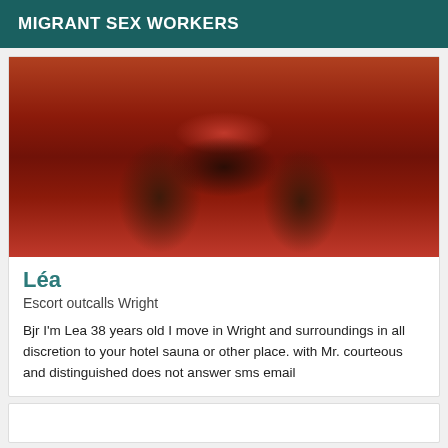MIGRANT SEX WORKERS
[Figure (photo): Close-up photo of a person from behind wearing red underwear against a red curtain background, hands visible at sides]
Léa
Escort outcalls Wright
Bjr I'm Lea 38 years old I move in Wright and surroundings in all discretion to your hotel sauna or other place. with Mr. courteous and distinguished does not answer sms email